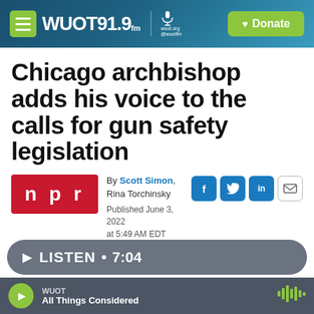WUOT 91.9 FM | wuot.org @wuotfm | Donate
Chicago archbishop adds his voice to the calls for gun safety legislation
By Scott Simon, Rina Torchinsky
Published June 3, 2022 at 5:49 AM EDT
[Figure (logo): NPR logo in red box]
[Figure (infographic): Social sharing icons: Facebook, Twitter, LinkedIn, Email]
LISTEN • 7:04
WUOT
All Things Considered